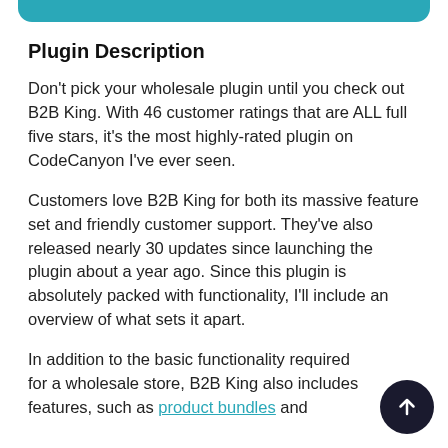Plugin Description
Don’t pick your wholesale plugin until you check out B2B King. With 46 customer ratings that are ALL full five stars, it’s the most highly-rated plugin on CodeCanyon I’ve ever seen.
Customers love B2B King for both its massive feature set and friendly customer support. They’ve also released nearly 30 updates since launching the plugin about a year ago. Since this plugin is absolutely packed with functionality, I’ll include an overview of what sets it apart.
In addition to the basic functionality required for a wholesale store, B2B King also includes features, such as product bundles and